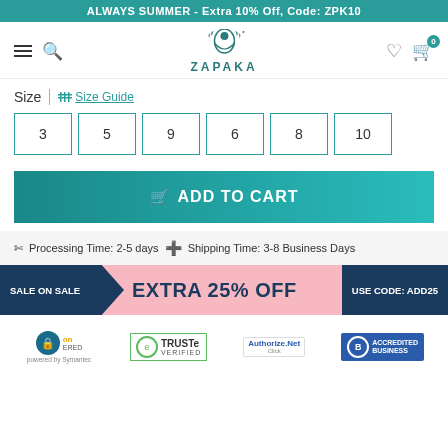ALWAYS SUMMER - Extra 10% Off, Code: ZPK10
[Figure (logo): ZAPAKA brand logo with illustrated figure and leaf motifs]
Size  |  [icon] Size Guide
Size options: 3, 5, 9, 6, 8, 10
[Cart icon] ADD TO CART
[Scissors icon] Processing Time: 2-5 days  [Truck icon] Shipping Time: 3-8 Business Days
[Figure (infographic): Sale banner: SALE ON SALE | EXTRA 25% OFF | USE CODE: ADD25]
[Figure (infographic): Trust badges: Norton Secured powered by Symantec, TRUSTe Verified, Authorize.Net, BBB Accredited Business]